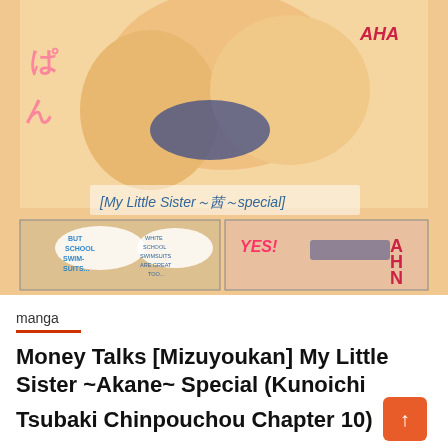[Figure (illustration): Manga/anime style illustration showing characters with Japanese text, speech bubbles with English text ('BUT SCHOOL SWIM-SUITS...', 'WHITE SCHOOL SWIMSUITS ARE GREAT TOO...', 'YES!', 'AHN', 'AHA') and a label '[My Little Sister～茜～special]']
manga
Money Talks [Mizuyoukan] My Little Sister ~Akane~ Special (Kunoichi Tsubaki Chinpouchou Chapter 10) [Yoroshii] Sexy Girl